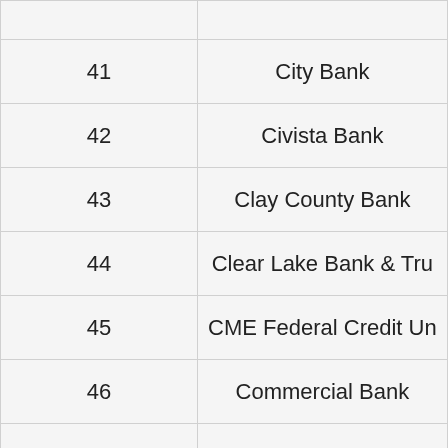|  |  |
| --- | --- |
| 41 | City Bank |
| 42 | Civista Bank |
| 43 | Clay County Bank |
| 44 | Clear Lake Bank & Tru… |
| 45 | CME Federal Credit Un… |
| 46 | Commercial Bank |